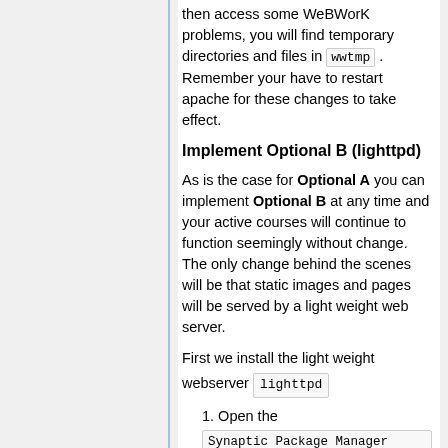then access some WeBWorK problems, you will find temporary directories and files in wwtmp . Remember your have to restart apache for these changes to take effect.
Implement Optional B (lighttpd)
As is the case for Optional A you can implement Optional B at any time and your active courses will continue to function seemingly without change. The only change behind the scenes will be that static images and pages will be served by a light weight web server.
First we install the light weight webserver lighttpd
1. Open the Synaptic Package Manager (select System ,